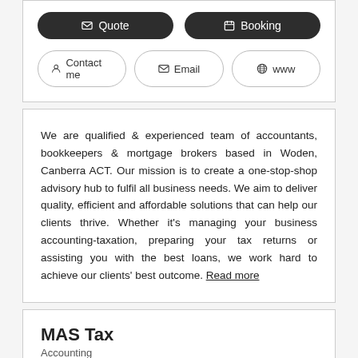[Figure (screenshot): Two dark pill-shaped buttons: Quote (with envelope icon) and Booking (with calendar icon)]
[Figure (screenshot): Three outline pill-shaped buttons: Contact me (with person icon), Email (with envelope icon), www (with globe icon)]
We are qualified & experienced team of accountants, bookkeepers & mortgage brokers based in Woden, Canberra ACT. Our mission is to create a one-stop-shop advisory hub to fulfil all business needs. We aim to deliver quality, efficient and affordable solutions that can help our clients thrive. Whether it's managing your business accounting-taxation, preparing your tax returns or assisting you with the best loans, we work hard to achieve our clients' best outcome. Read more
MAS Tax
Accounting